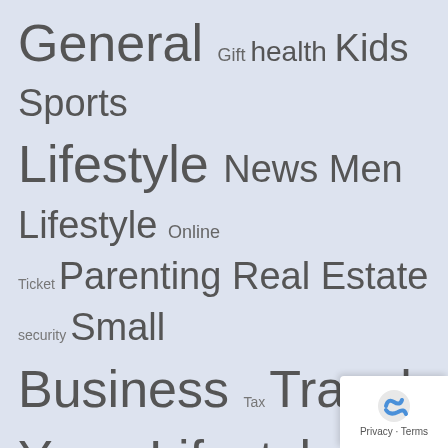General Gift health Kids Sports Lifestyle News Men Lifestyle Online Ticket Parenting Real Estate security Small Business Tax Travel Yoga Lifestyle
Living LifeStyle
Living Life Style is a blog for Beautiful Homes and Building , Run by James. Have a wast knowledge of writing article on Home Building, Construction, Decoration and design  and want to have it read by readers who share the same passion and interes...